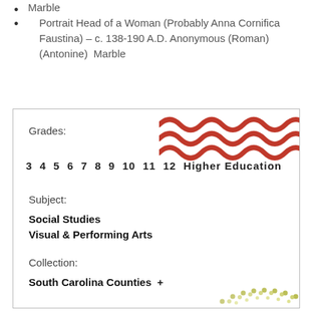Marble
Portrait Head of a Woman (Probably Anna Cornifica Faustina) – c. 138-190 A.D. Anonymous (Roman) (Antonine)  Marble
Grades:
[Figure (illustration): Three red wavy lines forming a decorative wave pattern]
3  4  5  6  7  8  9  10  11  12  Higher Education
Subject:
Social Studies
Visual & Performing Arts
Collection:
South Carolina Counties  +
[Figure (illustration): Decorative dotted arc pattern in olive/yellow-green color at bottom right]